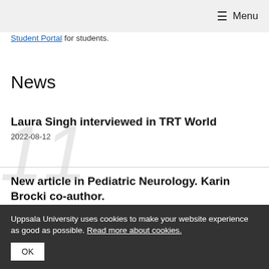≡ Menu
Student Portal for students.
News
Laura Singh interviewed in TRT World
2022-08-12
New article in Pediatric Neurology. Karin Brocki co-author.
Uppsala University uses cookies to make your website experience as good as possible. Read more about cookies.
OK